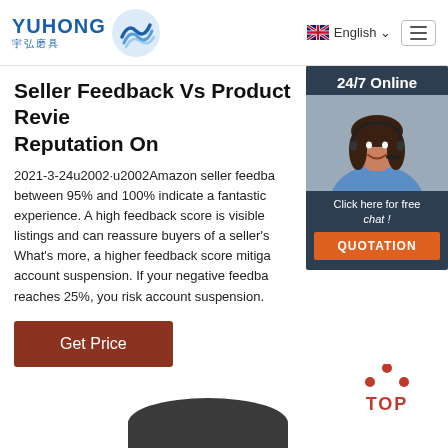YUHONG 宇弘磨具 | English | Menu
Seller Feedback Vs Product Reviews: Reputation On
2021-3-24u2002·u2002Amazon seller feedback scores between 95% and 100% indicate a fantastic experience. A high feedback score is visible on listings and can reassure buyers of a seller's. What's more, a higher feedback score mitigates account suspension. If your negative feedback reaches 25%, you risk account suspension.
[Figure (screenshot): 24/7 Online support panel with a woman wearing a headset, and a 'Click here for free chat!' and QUOTATION button]
Get Price
[Figure (other): TOP button with red dots above and red text]
[Figure (photo): Partial view of a dark circular abrasive grinding wheel product]